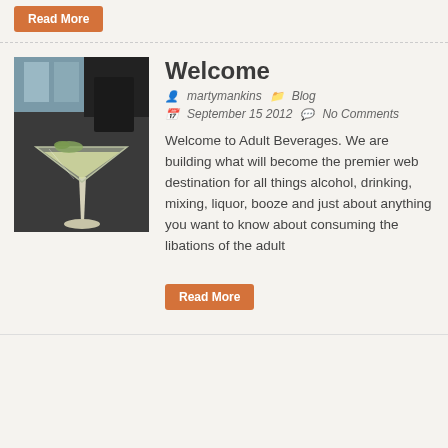Read More
Welcome
martymankins   Blog   September 15 2012   No Comments
Welcome to Adult Beverages. We are building what will become the premier web destination for all things alcohol, drinking, mixing, liquor, booze and just about anything you want to know about consuming the libations of the adult
Read More
[Figure (photo): Photo of a martini glass with a pale green cocktail, garnished with herbs, on a dark background]